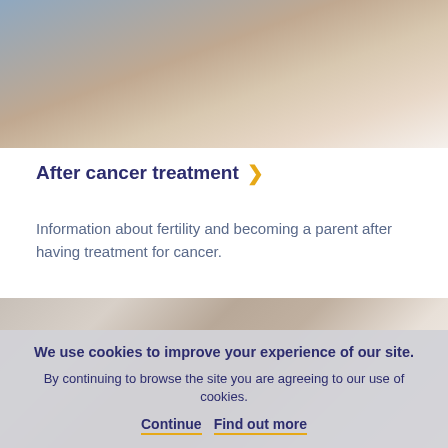[Figure (photo): Close-up photo of a medical examination, showing a doctor using a stethoscope on a patient's hand/wrist area]
After cancer treatment
Information about fertility and becoming a parent after having treatment for cancer.
[Figure (photo): Photo of a man and child sitting together on a sofa, the man has his arm around the child]
We use cookies to improve your experience of our site.
By continuing to browse the site you are agreeing to our use of cookies.
Continue  Find out more